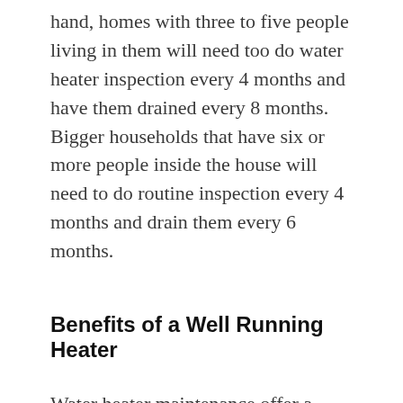hand, homes with three to five people living in them will need too do water heater inspection every 4 months and have them drained every 8 months. Bigger households that have six or more people inside the house will need to do routine inspection every 4 months and drain them every 6 months.
Benefits of a Well Running Heater
Water heater maintenance offer a plethora of benefits and this is the reason why many